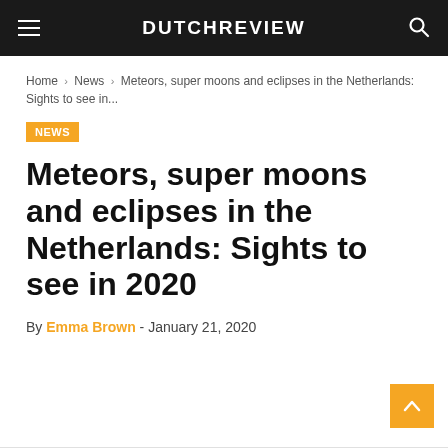DUTCHREVIEW
Home › News › Meteors, super moons and eclipses in the Netherlands: Sights to see in...
NEWS
Meteors, super moons and eclipses in the Netherlands: Sights to see in 2020
By Emma Brown - January 21, 2020